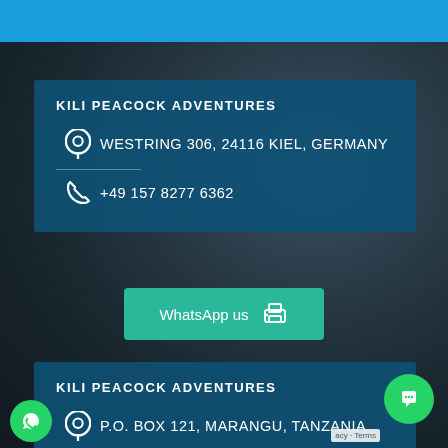KILI PEACOCK ADVENTURES
WESTRING 306, 24116 KIEL, GERMANY
+49 157 8277 6362
WhatsApp us
KILI PEACOCK ADVENTURES
P.O. BOX 121, MARANGU, TANZANIA